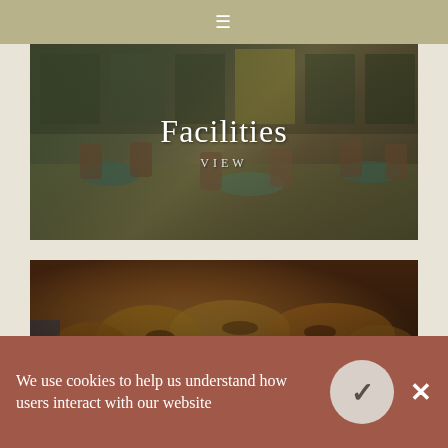≡
[Figure (photo): Interior of a dining/lounge area with chairs and tables, colorful tiled floor, overlaid with title text 'Facilities' and 'VIEW']
[Figure (photo): Close-up of pastries/croissants on a tray, overlaid with title text 'Food & Dining']
We use cookies to help us understand how users interact with our website